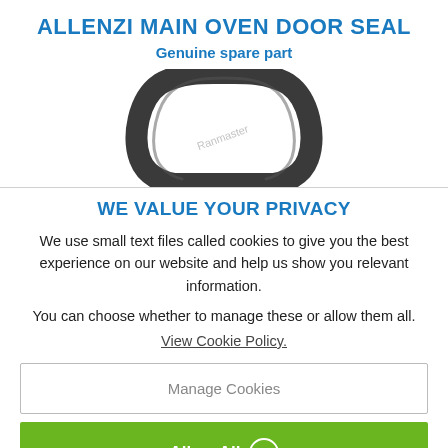ALLENZI MAIN OVEN DOOR SEAL
Genuine spare part
[Figure (photo): Product photo of an oven door seal gasket, dark grey rubber, shown from above with a rounded top portion visible.]
WE VALUE YOUR PRIVACY
We use small text files called cookies to give you the best experience on our website and help us show you relevant information.
You can choose whether to manage these or allow them all.
View Cookie Policy.
Manage Cookies
Allow All